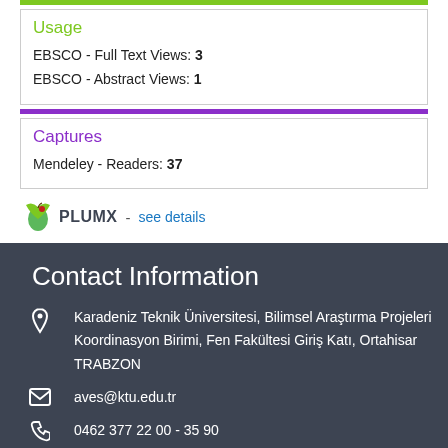Usage
EBSCO - Full Text Views: 3
EBSCO - Abstract Views: 1
Captures
Mendeley - Readers: 37
PLUMX - see details
Contact Information
Karadeniz Teknik Üniversitesi, Bilimsel Araştırma Projeleri Koordinasyon Birimi, Fen Fakültesi Giriş Katı, Ortahisar TRABZON
aves@ktu.edu.tr
0462 377 22 00 - 35 90
0462 325 34 84